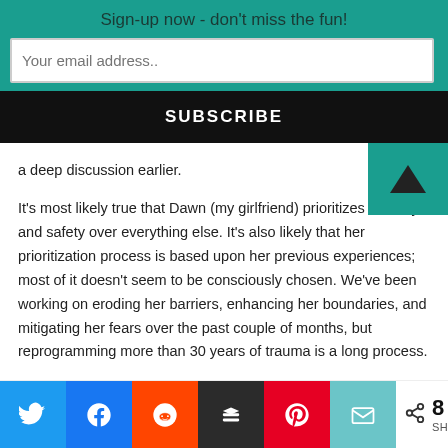Sign-up now - don't miss the fun!
a deep discussion earlier.
It's most likely true that Dawn (my girlfriend) prioritizes security and safety over everything else. It's also likely that her prioritization process is based upon her previous experiences; most of it doesn't seem to be consciously chosen. We've been working on eroding her barriers, enhancing her boundaries, and mitigating her fears over the past couple of months, but reprogramming more than 30 years of trauma is a long process.
She and I agreed that it's 90% likely that she'll never...